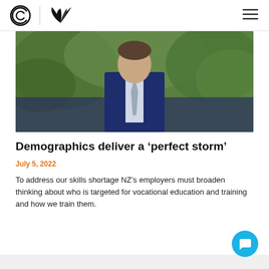Logo area with circular C logo and wing/feather logo plus hamburger menu
[Figure (photo): A man in a dark navy blue suit with a grey tie, photographed from chest up, with green foliage in the background]
Demographics deliver a ‘perfect storm’
July 5, 2022
To address our skills shortage NZ’s employers must broaden thinking about who is targeted for vocational education and training and how we train them.